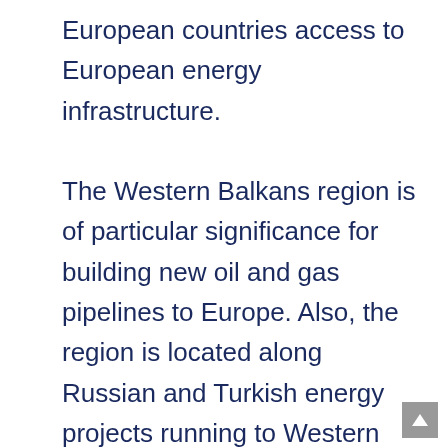European countries access to European energy infrastructure. The Western Balkans region is of particular significance for building new oil and gas pipelines to Europe. Also, the region is located along Russian and Turkish energy projects running to Western Europe, forcing the European Union to work jointly with transit countries to develop an appropriate legal framework.